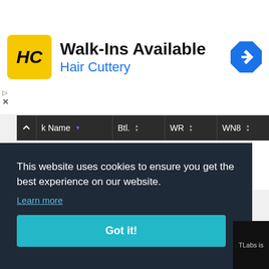[Figure (screenshot): Hair Cuttery advertisement banner with logo, 'Walk-Ins Available' heading, 'Hair Cuttery' subtitle, and navigation icon]
| k Name | Btl. | WR | WN8 |
| --- | --- | --- | --- |
No data available in table
Showing 0 to 0 of 0 entries
This website uses cookies to ensure you get the best experience on our website.
Learn more
Got it!